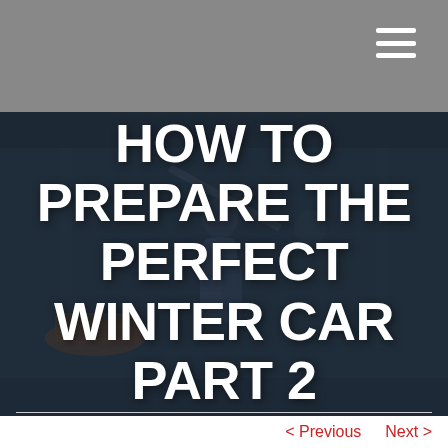[Figure (photo): Gray header bar with hamburger menu icon in top-right corner]
HOW TO PREPARE THE PERFECT WINTER CAR PART 2
< Previous   Next >